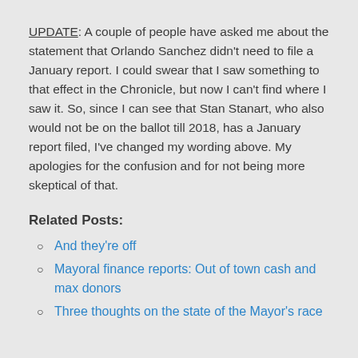UPDATE: A couple of people have asked me about the statement that Orlando Sanchez didn't need to file a January report. I could swear that I saw something to that effect in the Chronicle, but now I can't find where I saw it. So, since I can see that Stan Stanart, who also would not be on the ballot till 2018, has a January report filed, I've changed my wording above. My apologies for the confusion and for not being more skeptical of that.
Related Posts:
And they're off
Mayoral finance reports: Out of town cash and max donors
Three thoughts on the state of the Mayor's race